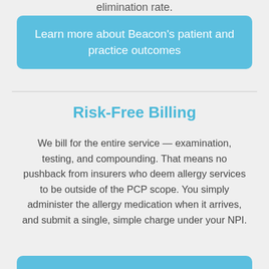elimination rate.
Learn more about Beacon's patient and practice outcomes
Risk-Free Billing
We bill for the entire service — examination, testing, and compounding. That means no pushback from insurers who deem allergy services to be outside of the PCP scope. You simply administer the allergy medication when it arrives, and submit a single, simple charge under your NPI.